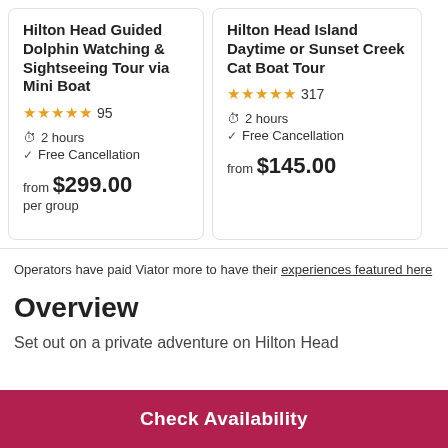Hilton Head Guided Dolphin Watching & Sightseeing Tour via Mini Boat
★★★★★ 95
2 hours
Free Cancellation
from $299.00
per group
Hilton Head Island Daytime or Sunset Creek Cat Boat Tour
★★★★★ 317
2 hours
Free Cancellation
from $145.00
Operators have paid Viator more to have their experiences featured here
Overview
Set out on a private adventure on Hilton Head